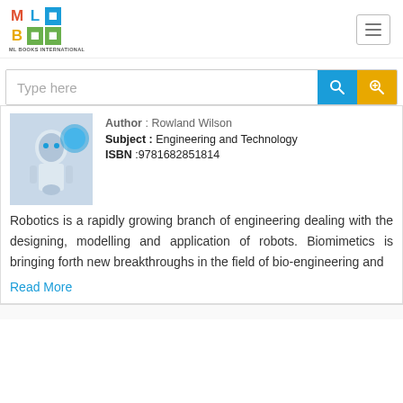[Figure (logo): ML Books International logo with colored letter grid]
[Figure (screenshot): Search bar with 'Type here' placeholder, blue search button and yellow zoom button]
Author : Rowland Wilson
Subject : Engineering and Technology
ISBN :9781682851814
Robotics is a rapidly growing branch of engineering dealing with the designing, modelling and application of robots. Biomimetics is bringing forth new breakthroughs in the field of bio-engineering and
Read More